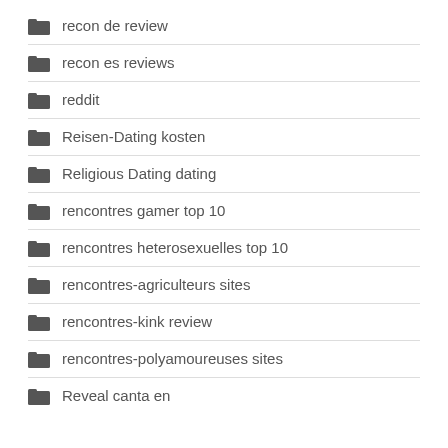recon de review
recon es reviews
reddit
Reisen-Dating kosten
Religious Dating dating
rencontres gamer top 10
rencontres heterosexuelles top 10
rencontres-agriculteurs sites
rencontres-kink review
rencontres-polyamoureuses sites
Reveal canta en